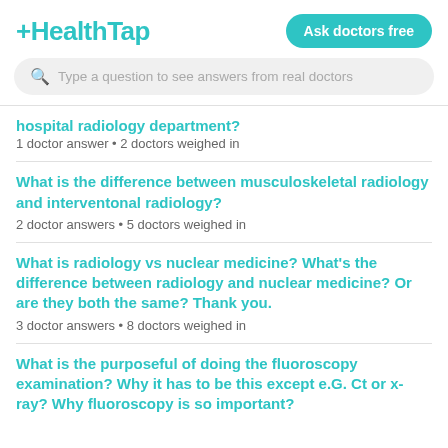HealthTap
Type a question to see answers from real doctors
hospital radiology department?
1 doctor answer • 2 doctors weighed in
What is the difference between musculoskeletal radiology and interventonal radiology?
2 doctor answers • 5 doctors weighed in
What is radiology vs nuclear medicine? What's the difference between radiology and nuclear medicine? Or are they both the same? Thank you.
3 doctor answers • 8 doctors weighed in
What is the purposeful of doing the fluoroscopy examination? Why it has to be this except e.G. Ct or x-ray? Why fluoroscopy is so important?